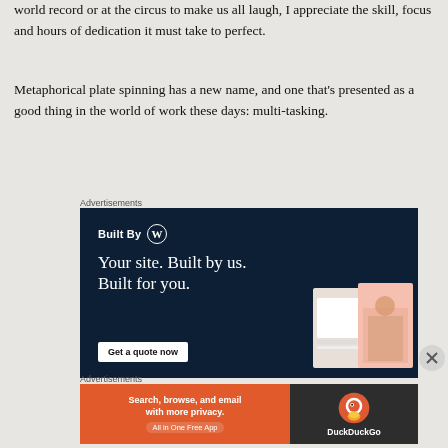world record or at the circus to make us all laugh, I appreciate the skill, focus and hours of dedication it must take to perfect.
Metaphorical plate spinning has a new name, and one that's presented as a good thing in the world of work these days: multi-tasking.
Advertisements
[Figure (other): WordPress advertisement: Built By WP logo, headline 'Your site. Built by us. Built for you.' with Get a quote now button and website/person mockup image]
Advertisements
[Figure (other): DuckDuckGo advertisement: 'Search, browse, and email with more privacy. All in One Free App' with DuckDuckGo logo on dark background]